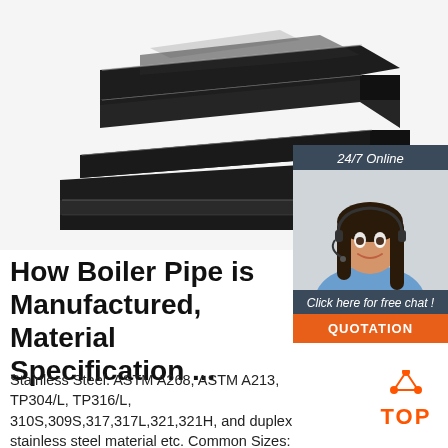[Figure (photo): Photo of dark steel flat bar plates stacked at an angle on a white background]
[Figure (photo): Customer service agent (woman with headset) with '24/7 Online' banner and 'Click here for free chat!' text with orange QUOTATION button]
How Boiler Pipe is Manufactured, Material Specification ...
Stainless Steel: ASTM A268, ASTM A213, TP304/L, TP316/L, 310S,309S,317,317L,321,321H, and duplex stainless steel material etc. Common Sizes: OD from 6mm to 1240mm, thickness from 1mm to
[Figure (logo): Orange TOP logo with triangle/dots above the word TOP in orange]